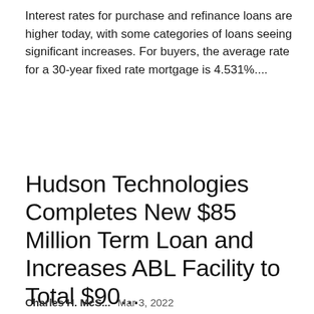Interest rates for purchase and refinance loans are higher today, with some categories of loans seeing significant increases. For buyers, the average rate for a 30-year fixed rate mortgage is 4.531%....
Hudson Technologies Completes New $85 Million Term Loan and Increases ABL Facility to Total $90...
Charles H. McS...   Mar 3, 2022